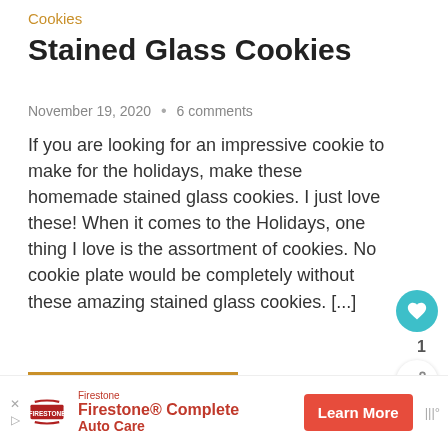Cookies
Stained Glass Cookies
November 19, 2020  •  6 comments
If you are looking for an impressive cookie to make for the holidays, make these homemade stained glass cookies. I just love these! When it comes to the Holidays, one thing I love is the assortment of cookies. No cookie plate would be completely without these amazing stained glass cookies. [...]
READ MORE
WHAT'S NEXT → Peanut Brittle
1  2  Next
Firestone  Firestone® Complete Auto Care  Learn More